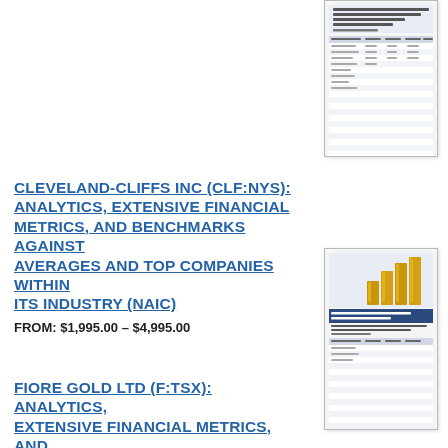[Figure (illustration): Thumbnail image of a financial report document cover for Cleveland-Cliffs Inc analytics report, showing a table of data]
CLEVELAND-CLIFFS INC (CLF:NYS): ANALYTICS, EXTENSIVE FINANCIAL METRICS, AND BENCHMARKS AGAINST AVERAGES AND TOP COMPANIES WITHIN ITS INDUSTRY (NAIC)
FROM: $1,995.00 – $4,995.00
[Figure (illustration): Thumbnail image of a financial benchmarks report with gold bar chart on cover for Fiore Gold Ltd analytics report]
FIORE GOLD LTD (F:TSX): ANALYTICS, EXTENSIVE FINANCIAL METRICS, AND BENCHMARKS AGAINST AVERAGES AND TOP COMPANIES WITHIN ITS INDUSTRY